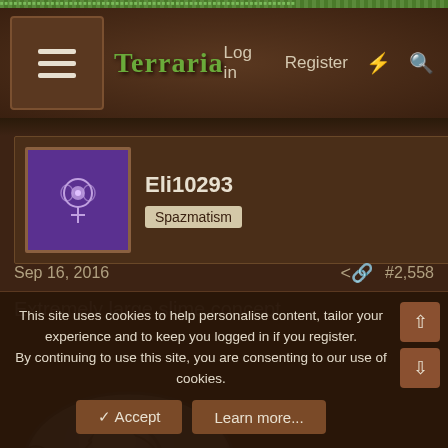Terraria — Log in   Register
Eli10293
Spazmatism
Sep 16, 2016   #2,558
Extremely large slime concept
[Figure (illustration): Pixel art of an extremely large grey slime creature with swirling pattern on its body]
This site uses cookies to help personalise content, tailor your experience and to keep you logged in if you register.
By continuing to use this site, you are consenting to our use of cookies.
✓ Accept   Learn more...